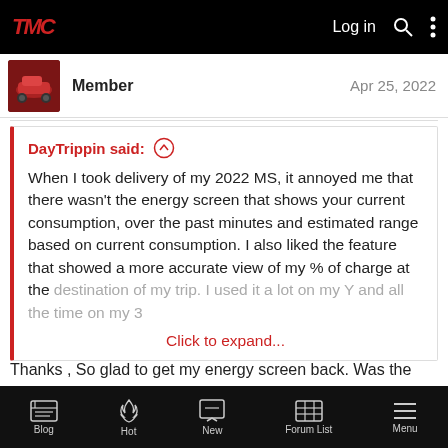TMC | Log in
Member  Apr 25, 2022
DayTrippin said: ↑ When I took delivery of my 2022 MS, it annoyed me that there wasn't the energy screen that shows your current consumption, over the past minutes and estimated range based on current consumption. I also liked the feature that showed a more accurate view of my % of charge at the destination of my trip. I used it a lot on my Y and all the time on my 3. Click to expand...
Thanks , So glad to get my energy screen back. Was the one thing I really missed from my 14 S.
Blog  Hot  New  Forum List  Menu